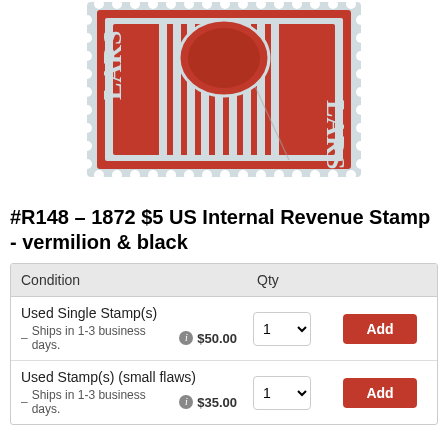[Figure (photo): Close-up photograph of a US Internal Revenue stamp #R148 from 1872, $5 denomination, printed in vermilion and black. The stamp shows an ornate design with perforated edges visible at bottom.]
#R148 – 1872 $5 US Internal Revenue Stamp - vermilion & black
| Condition | Qty |  |
| --- | --- | --- |
| Used Single Stamp(s)
Ships in 1-3 business days.  $50.00 | 1 | Add |
| Used Stamp(s) (small flaws)
Ships in 1-3 business days.  $35.00 | 1 | Add |